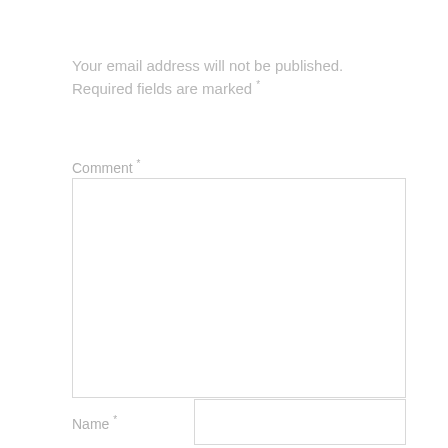Your email address will not be published. Required fields are marked *
Comment *
[Figure (other): Empty comment textarea input box]
Name *
[Figure (other): Empty name text input box]